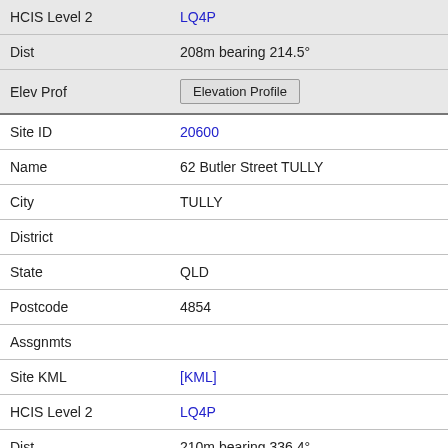| Field | Value |
| --- | --- |
| HCIS Level 2 | LQ4P |
| Dist | 208m bearing 214.5° |
| Elev Prof | [Elevation Profile] |
| Site ID | 20600 |
| Name | 62 Butler Street TULLY |
| City | TULLY |
| District |  |
| State | QLD |
| Postcode | 4854 |
| Assgnmts |  |
| Site KML | [KML] |
| HCIS Level 2 | LQ4P |
| Dist | 210m bearing 336.4° |
| Elev Prof | [Elevation Profile] |
| Site ID | 9018499 |
| Name | Mobiles within 40km radius of TULLY |